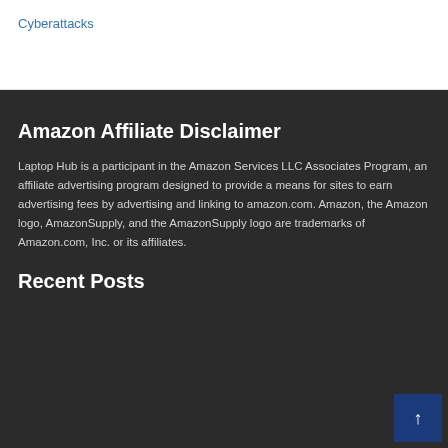Cyberattacks
Amazon Affiliate Disclaimer
Laptop Hub is a participant in the Amazon Services LLC Associates Program, an affiliate advertising program designed to provide a means for sites to earn advertising fees by advertising and linking to amazon.com. Amazon, the Amazon logo, AmazonSupply, and the AmazonSupply logo are trademarks of Amazon.com, Inc. or its affiliates.
Recent Posts